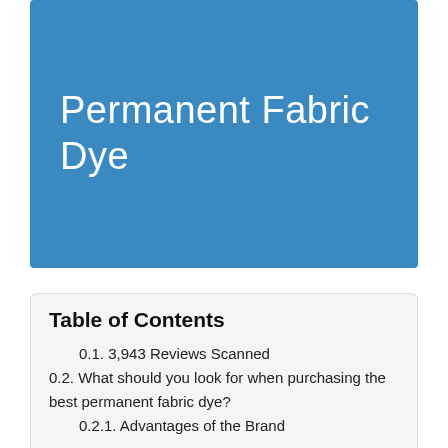Permanent Fabric Dye
Table of Contents
0.1. 3,943 Reviews Scanned
0.2. What should you look for when purchasing the best permanent fabric dye?
0.2.1. Advantages of the Brand